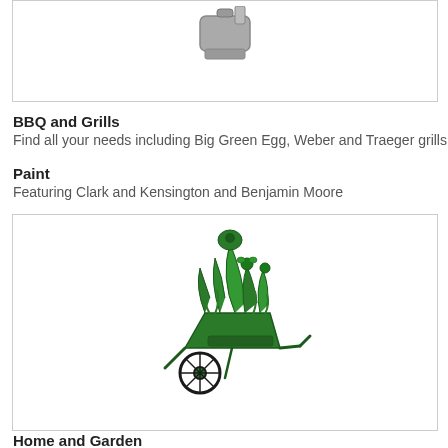[Figure (illustration): Partial view of a grill or BBQ appliance icon, gray colored, cut off at top]
BBQ and Grills
Find all your needs including Big Green Egg, Weber and Traeger grills
Paint
Featuring Clark and Kensington and Benjamin Moore
[Figure (illustration): Green garden wheelbarrow filled with plants and flowers illustration]
Home and Garden
Check out our nursery!
[Figure (other): Empty box at the bottom, partial view]